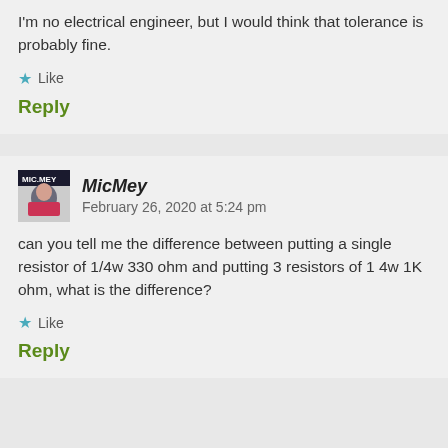I'm no electrical engineer, but I would think that tolerance is probably fine.
Like
Reply
MicMey  February 26, 2020 at 5:24 pm
can you tell me the difference between putting a single resistor of 1/4w 330 ohm and putting 3 resistors of 1 4w 1K ohm, what is the difference?
Like
Reply